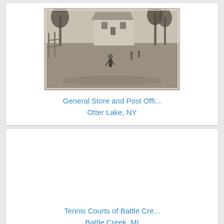[Figure (photo): Black and white historical photograph showing a general store and post office building with trees and people visible in an outdoor setting at Otter Lake, NY]
General Store and Post Offi...
Otter Lake, NY
[Figure (photo): Image placeholder for Tennis Courts of Battle Creek photograph (image not loaded)]
Tennis Courts of Battle Cre...
Battle Creek, MI